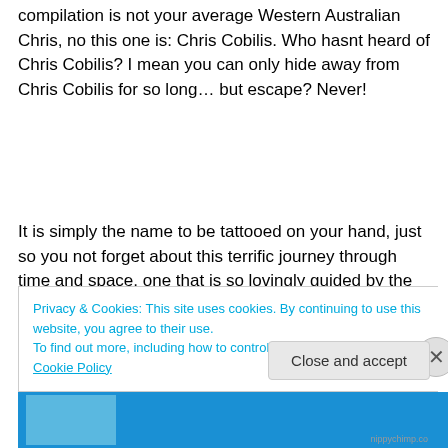compilation is not your average Western Australian Chris, no this one is: Chris Cobilis. Who hasnt heard of Chris Cobilis? I mean you can only hide away from Chris Cobilis for so long… but escape? Never!
It is simply the name to be tattooed on your hand, just so you not forget about this terrific journey through time and space, one that is so lovingly guided by the sounds of music the Chris Cobilis way. Let this name be your eye of
Privacy & Cookies: This site uses cookies. By continuing to use this website, you agree to their use.
To find out more, including how to control cookies, see here: Cookie Policy
Close and accept